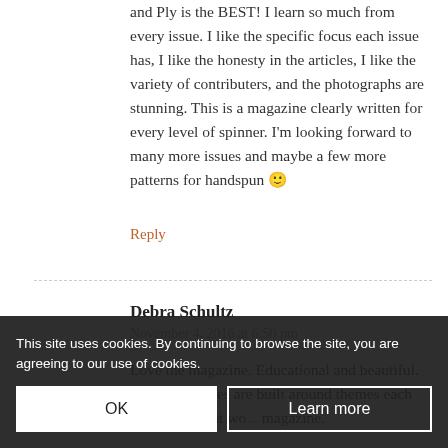and Ply is the BEST! I learn so much from every issue. I like the specific focus each issue has, I like the honesty in the articles, I like the variety of contributers, and the photographs are stunning. This is a magazine clearly written for every level of spinner. I'm looking forward to many more issues and maybe a few more patterns for handspun 🙂
Reply
Debra Schultz
November 4, 2016 at 6:50 pm
Love the magazine. Educational and beautiful. Love on articles are built around themes each season. A great wo... magazine.
This site uses cookies. By continuing to browse the site, you are agreeing to our use of cookies.
OK
Learn more